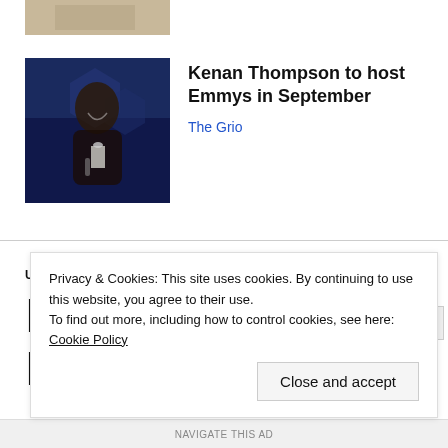[Figure (photo): Partial top image strip, cropped photo thumbnail]
[Figure (photo): Photo of Kenan Thompson in a dark suit, smiling, blue background]
Kenan Thompson to host Emmys in September
The Grio
UNCATEGORIZED
BULLYING AND FEAR
Privacy & Cookies: This site uses cookies. By continuing to use this website, you agree to their use.
To find out more, including how to control cookies, see here: Cookie Policy
Close and accept